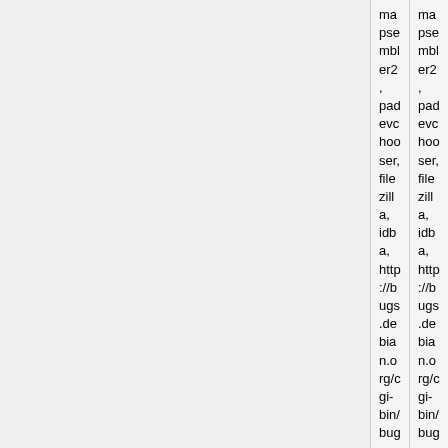| (col1) | (col2) |
| --- | --- |
| mapsembler2, padevchooser, filezilla, idba, http://bugs.debian.org/cgi-bin/bugreport.cgi?bug=785654 | mapsembler2, padevchooser, filezilla, idba, http://bugs.debian.org/cgi-bin/bugreport.cgi?bug=785654 |
| *** __sync_val_compare_and_swap_8 was missing in: openvdb, idba, lizardfs, ... | *** __sync_val_compare_and_swap_8 was missing in: openvdb, idba, lizardfs, ... |
|  | ** DONE: [https://sourceware.org/bugzilla/show_bug.cgi?id=20243 Misaligned access in res_query.c HEADER + struct] fixed in [https://sourceware.org/git/?p=glibc.git;a=commit;h=05dec22d7be722987ff07aebf9690f6078b3c4 |